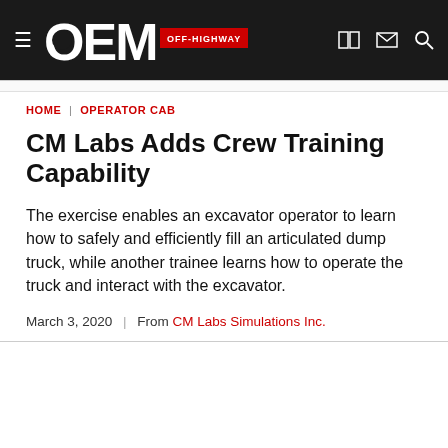OEM OFF-HIGHWAY
HOME | OPERATOR CAB
CM Labs Adds Crew Training Capability
The exercise enables an excavator operator to learn how to safely and efficiently fill an articulated dump truck, while another trainee learns how to operate the truck and interact with the excavator.
March 3, 2020 | From CM Labs Simulations Inc.